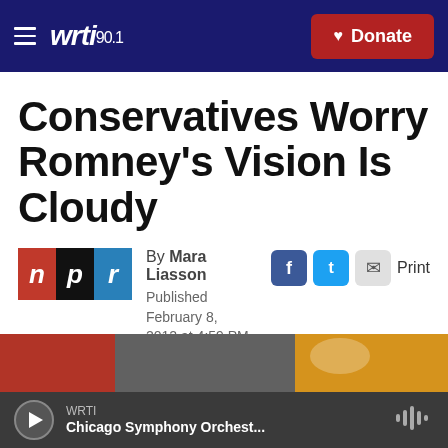WRTI 90.1  |  Donate
Conservatives Worry Romney's Vision Is Cloudy
By Mara Liasson
Published February 8, 2012 at 4:59 PM EST
LISTEN • 4:51
[Figure (photo): Partial photo visible at bottom of article area]
WRTI
Chicago Symphony Orchest...